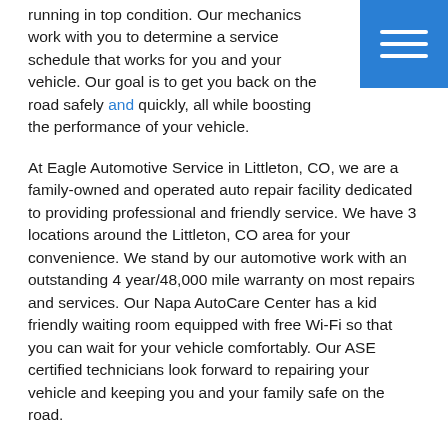running in top condition. Our mechanics work with you to determine a service schedule that works for you and your vehicle. Our goal is to get you back on the road safely and quickly, all while boosting the performance of your vehicle.
At Eagle Automotive Service in Littleton, CO, we are a family-owned and operated auto repair facility dedicated to providing professional and friendly service. We have 3 locations around the Littleton, CO area for your convenience. We stand by our automotive work with an outstanding 4 year/48,000 mile warranty on most repairs and services. Our Napa AutoCare Center has a kid friendly waiting room equipped with free Wi-Fi so that you can wait for your vehicle comfortably. Our ASE certified technicians look forward to repairing your vehicle and keeping you and your family safe on the road.
If your Volkswagen is due for a service or repair, bring your vehicle to our experts at Eagle Automotive Service. We look forward to servicing your vehicle soon!